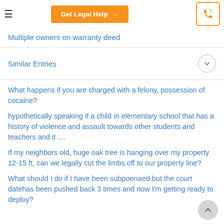Get Legal Help →
Multiple owners on warranty deed
Similar Entries
What happens if you are charged with a felony, possession of cocaine?
hypothetically speaking if a child in elementary school that has a history of violence and assault towards other students and teachers and it ....
If my neighbors old, huge oak tree is hanging over my property 12-15 ft, can we legally cut the limbs off to our property line?
What should I do if I have been subpoenaed but the court datehas been pushed back 3 times and now I'm getting ready to deploy?